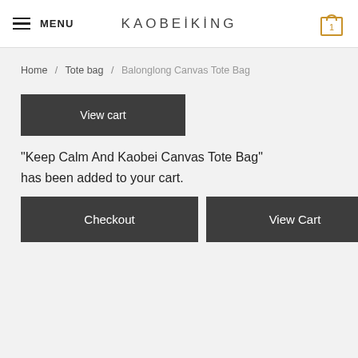MENU | KAOBEIKING | 1
Home / Tote bag / Balonglong Canvas Tote Bag
“Keep Calm And Kaobei Canvas Tote Bag” has been added to your cart.
Checkout | View Cart